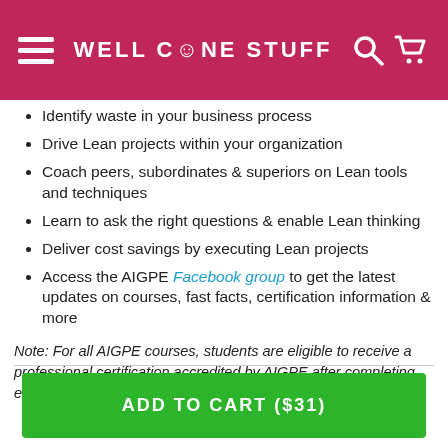WELL DONE STUFF
Identify waste in your business process
Drive Lean projects within your organization
Coach peers, subordinates & superiors on Lean tools and techniques
Learn to ask the right questions & enable Lean thinking
Deliver cost savings by executing Lean projects
Access the AIGPE Facebook group to get the latest updates on courses, fast facts, certification information & more
Note: For all AIGPE courses, students are eligible to receive a professional certification accredited by AIGPE after completing each course. Upon course completion, the candidate simply needs to email programs@aigproexcellence.com and request the certification.
ADD TO CART ($31)